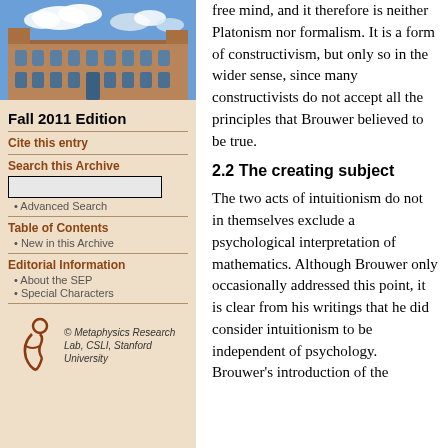[Figure (photo): Photo of a stone university building with Gothic architecture and blue sky with clouds]
Fall 2011 Edition
Cite this entry
Search this Archive
Advanced Search
Table of Contents
New in this Archive
Editorial Information
About the SEP
Special Characters
[Figure (logo): Metaphysics Research Lab logo — stylized figure in red/brown]
© Metaphysics Research Lab, CSLI, Stanford University
free mind, and it therefore is neither Platonism nor formalism. It is a form of constructivism, but only so in the wider sense, since many constructivists do not accept all the principles that Brouwer believed to be true.
2.2 The creating subject
The two acts of intuitionism do not in themselves exclude a psychological interpretation of mathematics. Although Brouwer only occasionally addressed this point, it is clear from his writings that he did consider intuitionism to be independent of psychology. Brouwer's introduction of the